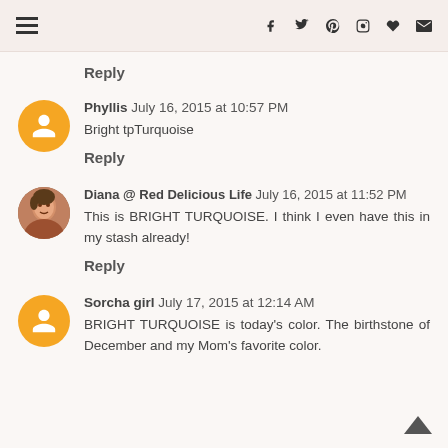Navigation and social media icons header
Reply
Phyllis July 16, 2015 at 10:57 PM
Bright tpTurquoise
Reply
Diana @ Red Delicious Life July 16, 2015 at 11:52 PM
This is BRIGHT TURQUOISE. I think I even have this in my stash already!
Reply
Sorcha girl July 17, 2015 at 12:14 AM
BRIGHT TURQUOISE is today's color. The birthstone of December and my Mom's favorite color.